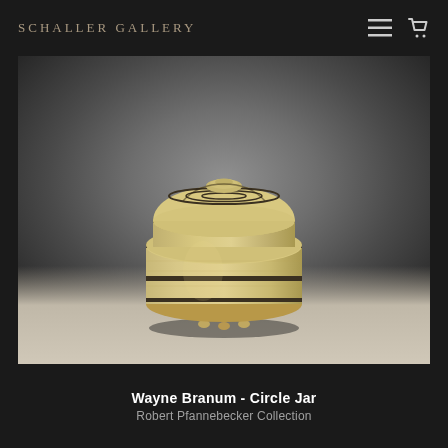SCHALLER GALLERY
[Figure (photo): A ceramic lidded circle jar with cream/tan glaze and dark brown/black horizontal banded lines, sitting on small feet, photographed against a grey gradient studio background. The jar has a rounded body with a flat fitted lid decorated with concentric circular scored lines.]
Wayne Branum - Circle Jar
Robert Pfannebecker Collection